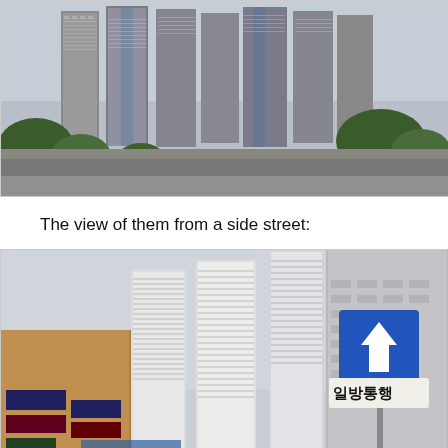[Figure (photo): Aerial/frontal view of tall residential skyscraper towers in Korea, with trees in foreground, cloudy sky]
The view of them from a side street:
[Figure (photo): Street-level view of tall white residential skyscraper towers from a side street in Korea, with Korean street signs including a blue one-way traffic sign with upward arrow and Korean text 일방통행, commercial buildings with Korean signage on left]